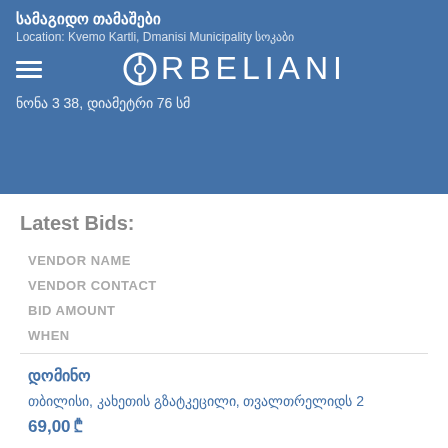სამაგიდო თამაშები
Location: Kvemo Kartli, Dmanisi Municipality სოკაბი
ნონა 3 39, დიამეტრი 76 სმ
Latest Bids:
VENDOR NAME
VENDOR CONTACT
BID AMOUNT
WHEN
დომინო
თბილისი, კახეთის გზატკეცილი, თვალთრელიდს 2
69,00 ₾
Jan. 31, 2021, 7:26 p.m.